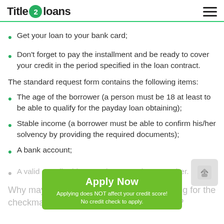Title 2 loans
Get your loan to your bank card;
Don't forget to pay the installment and be ready to cover your credit in the period specified in the loan contract.
The standard request form contains the following items:
The age of the borrower (a person must be 18 at least to be able to qualify for the payday loan obtaining);
Stable income (a borrower must be able to confirm his/her solvency by providing the required documents);
A bank account;
A valid e-mail address and contact phone number.
[Figure (other): Green Apply Now button with text 'Applying does NOT affect your credit score! No credit check to apply.']
Why may a person get refusal when applying for the checkmate payday loan in Wisconsin WI?